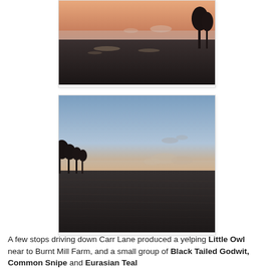[Figure (photo): Landscape photo of misty fenland at dawn/dusk, dark foreground with light reflecting on water, orange-pink sky with mist on the horizon, dark trees silhouetted on the right.]
[Figure (photo): Landscape photo of misty fenland at dawn/dusk, wide flat field in dark foreground, low mist across the middle ground with silhouetted trees on the left, orange and blue sky with wisps of cloud.]
A few stops driving down Carr Lane produced a yelping Little Owl near to Burnt Mill Farm, and a small group of Black Tailed Godwit, Common Snipe and Eurasian Teal